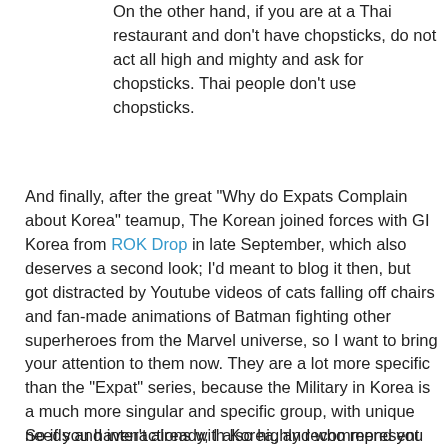On the other hand, if you are at a Thai restaurant and don't have chopsticks, do not act all high and mighty and ask for chopsticks. Thai people don't use chopsticks.
And finally, after the great "Why do Expats Complain about Korea" teamup, The Korean joined forces with GI Korea from ROK Drop in late September, which also deserves a second look; I'd meant to blog it then, but got distracted by Youtube videos of cats falling off chairs and fan-made animations of Batman fighting other superheroes from the Marvel universe, so I want to bring your attention to them now. They are a lot more specific than the "Expat" series, because the Military in Korea is a much more singular and specific group, with unique needs and interactions with Korea, and who represent something much more specific to Koreans, which means they got to go into much more specific detail in discussing this (sometimes) mutually antagonistic relationship, than I could in my complaining expat broad-brush-generalization-fest.
So if you haven't already, I also highly recommend you read: from ROK Drop, What is GI Korea about Korea...